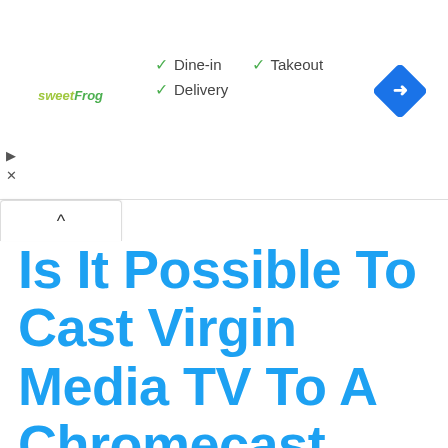[Figure (screenshot): Advertisement banner for sweetFrog showing Dine-in, Takeout, and Delivery options with green checkmarks, and a blue navigation/directions icon on the right.]
Is It Possible To Cast Virgin Media TV To A Chromecast From Anywhere?